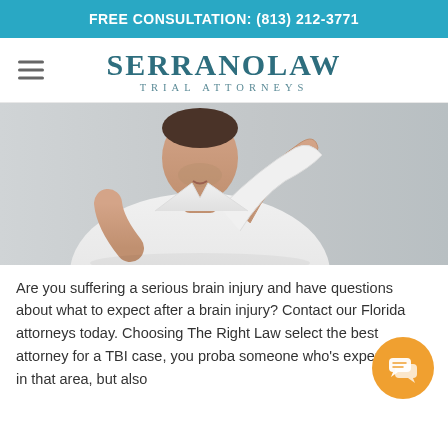FREE CONSULTATION: (813) 212-3771
[Figure (logo): Serrano Law Trial Attorneys logo with hamburger menu icon]
[Figure (photo): Man in white t-shirt holding his head/hand to the back of his head, suggesting a brain or head injury, against a light grey background]
Are you suffering a serious brain injury and have questions about what to expect after a brain injury? Contact our Florida attorneys today. Choosing The Right Law select the best attorney for a TBI case, you proba someone who's experienced in that area, but also